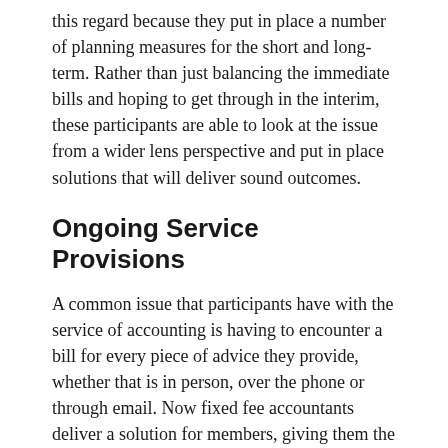this regard because they put in place a number of planning measures for the short and long-term. Rather than just balancing the immediate bills and hoping to get through in the interim, these participants are able to look at the issue from a wider lens perspective and put in place solutions that will deliver sound outcomes.
Ongoing Service Provisions
A common issue that participants have with the service of accounting is having to encounter a bill for every piece of advice they provide, whether that is in person, over the phone or through email. Now fixed fee accountants deliver a solution for members, giving them the chance to be informed about their accounting practices without the experience of being billed for the privilege. This is peace of mind for any home or business owner, especially with so much